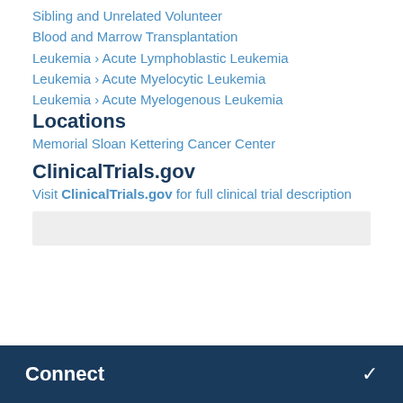Sibling and Unrelated Volunteer Blood and Marrow Transplantation
Leukemia › Acute Lymphoblastic Leukemia
Leukemia › Acute Myelocytic Leukemia
Leukemia › Acute Myelogenous Leukemia
Locations
Memorial Sloan Kettering Cancer Center
ClinicalTrials.gov
Visit ClinicalTrials.gov for full clinical trial description
Connect